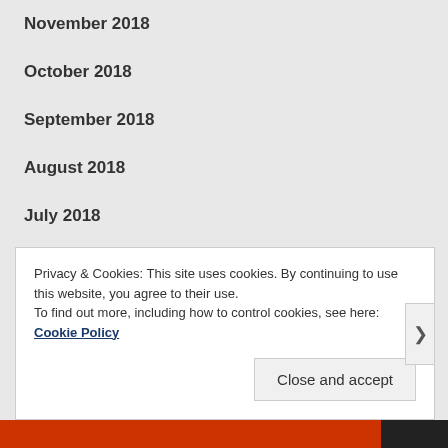November 2018
October 2018
September 2018
August 2018
July 2018
June 2018
May 2018
April 2018
Privacy & Cookies: This site uses cookies. By continuing to use this website, you agree to their use.
To find out more, including how to control cookies, see here: Cookie Policy
Close and accept